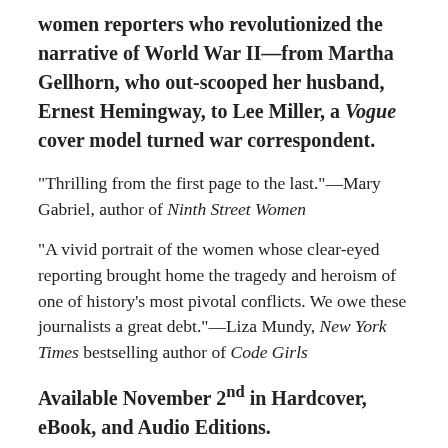women reporters who revolutionized the narrative of World War II—from Martha Gellhorn, who out-scooped her husband, Ernest Hemingway, to Lee Miller, a Vogue cover model turned war correspondent.
“Thrilling from the first page to the last.”—Mary Gabriel, author of Ninth Street Women
“A vivid portrait of the women whose clear-eyed reporting brought home the tragedy and heroism of one of history’s most pivotal conflicts. We owe these journalists a great debt.”—Liza Mundy, New York Times bestselling author of Code Girls
Available November 2nd in Hardcover, eBook, and Audio Editions.